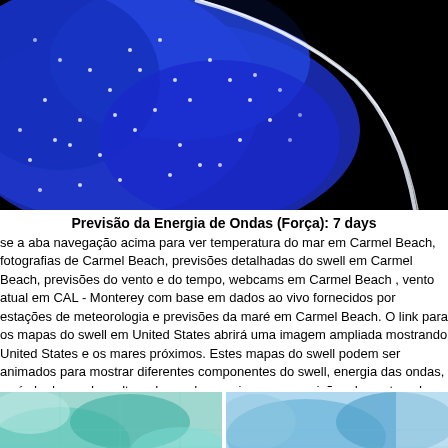[Figure (photo): Satellite/radar image showing ocean wave energy map with blue tones and white dot markers over a dark background, depicting swell patterns near a coastline.]
Previsão da Energia de Ondas (Força): 7 days
se a aba navegação acima para ver temperatura do mar em Carmel Beach, fotografias de Carmel Beach, previsões detalhadas do swell em Carmel Beach, previsões do vento e do tempo, webcams em Carmel Beach , vento atual em CAL - Monterey com base em dados ao vivo fornecidos por estações de meteorologia e previsões da maré em Carmel Beach. O link para os mapas do swell em United States abrirá uma imagem ampliada mostrando United States e os mares próximos. Estes mapas do swell podem ser animados para mostrar diferentes componentes do swell, energia das ondas, período das ondas, altura das ondas, assim como previsões do vento e do tempo, observações em tempo real do estado do tempo e do mar, graças às bóias de United States, navios passantes e estações de meteorologia presentes na costa. Read More
[Figure (photo): Thumbnail image of a wave/swell map with teal and light blue colors showing ocean patterns.]
[Figure (photo): Thumbnail image of another swell or weather map with blue tones showing coastal data.]